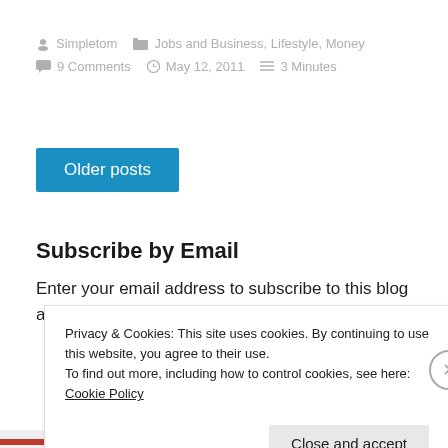Simpletom   Jobs and Business, Lifestyle, Money   9 Comments   May 12, 2011   3 Minutes
Older posts
Subscribe by Email
Enter your email address to subscribe to this blog and receive notifications of new posts by email.
Privacy & Cookies: This site uses cookies. By continuing to use this website, you agree to their use. To find out more, including how to control cookies, see here: Cookie Policy
Close and accept